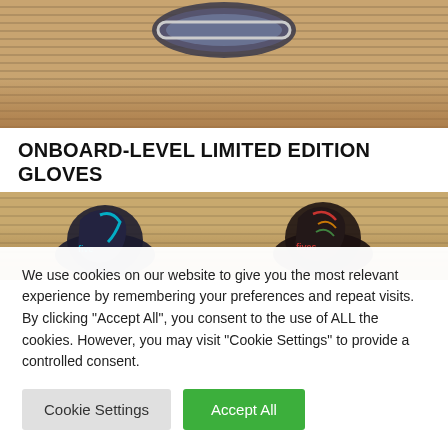[Figure (photo): Close-up photo of ski/snowboard goggles resting on corrugated cardboard material with a tan/brown textured background]
ONBOARD-LEVEL LIMITED EDITION GLOVES
[Figure (photo): Photo of two snowboard gloves hanging – one black with blue design on the left and one black with red/multicolor design on the right, cardboard background]
We use cookies on our website to give you the most relevant experience by remembering your preferences and repeat visits. By clicking "Accept All", you consent to the use of ALL the cookies. However, you may visit "Cookie Settings" to provide a controlled consent.
Cookie Settings
Accept All